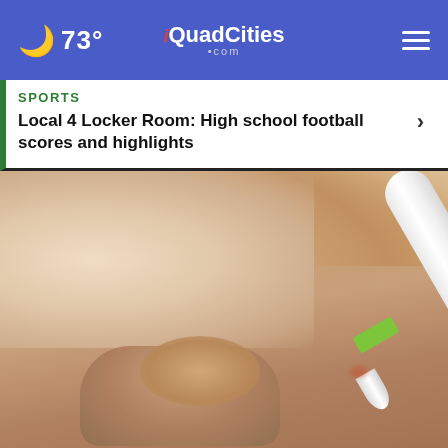🌙 73° | iQuadCities.com | ☰
SPORTS
Local 4 Locker Room: High school football scores and highlights
[Figure (photo): Close-up photo of a medical device (white pen-like tool with green band) being applied to a person's skin, showing a hand holding the device against what appears to be irritated skin.]